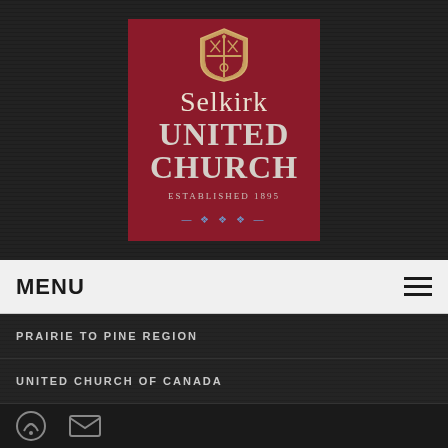[Figure (logo): Selkirk United Church logo on dark red background with shield emblem, text reading 'Selkirk UNITED CHURCH ESTABLISHED 1895']
MENU
PRAIRIE TO PINE REGION
UNITED CHURCH OF CANADA